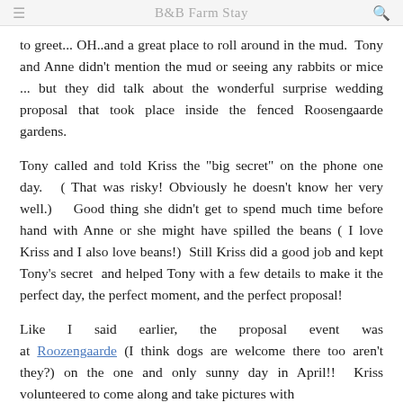B&B Farm Stay
to greet... OH..and a great place to roll around in the mud.  Tony and Anne didn't mention the mud or seeing any rabbits or mice ... but they did talk about the wonderful surprise wedding proposal that took place inside the fenced Roosengaarde gardens.
Tony called and told Kriss the "big secret" on the phone one day.   ( That was risky! Obviously he doesn't know her very well.)    Good thing she didn't get to spend much time before hand with Anne or she might have spilled the beans ( I love Kriss and I also love beans!)  Still Kriss did a good job and kept Tony's secret  and helped Tony with a few details to make it the perfect day, the perfect moment, and the perfect proposal!
Like I said earlier, the proposal event was at Roozengaarde (I think dogs are welcome there too aren't they?) on the one and only sunny day in April!!  Kriss volunteered to come along and take pictures with